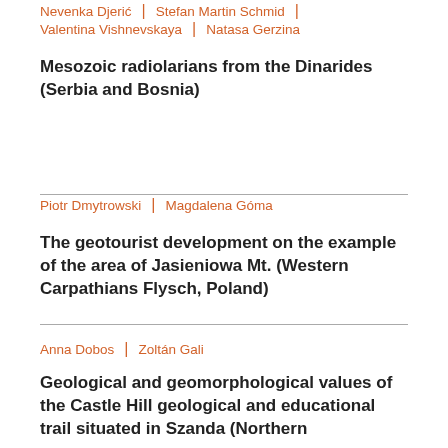Nevenka Djerić | Stefan Martin Schmid | Valentina Vishnevskaya | Natasa Gerzina
Mesozoic radiolarians from the Dinarides (Serbia and Bosnia)
Piotr Dmytrowski | Magdalena Góma
The geotourist development on the example of the area of Jasieniowa Mt. (Western Carpathians Flysch, Poland)
Anna Dobos | Zoltán Gali
Geological and geomorphological values of the Castle Hill geological and educational trail situated in Szanda (Northern